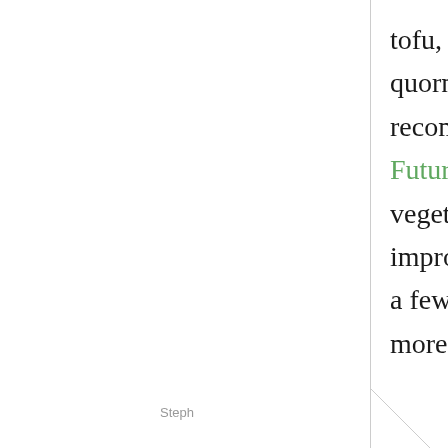tofu, tempeh, soya-meat (tvp), quorn or seitan? Check out recommendable brands at FutureFood. Concerning quality, vegetarian meat is really improving fast, and I hope within a few years it will gain much more popularity.
Steph